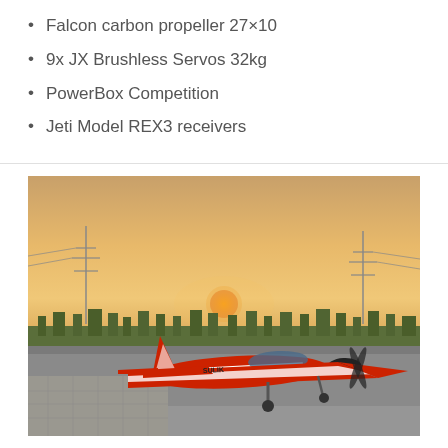Falcon carbon propeller 27×10
9x JX Brushless Servos 32kg
PowerBox Competition
Jeti Model REX3 receivers
[Figure (photo): RC model airplane (red and white, aerobatic design) on a runway or tarmac with a sunset sky background, power line towers visible in the distance, tree line on the horizon.]